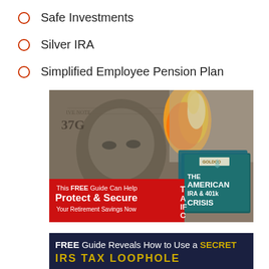Safe Investments
Silver IRA
Simplified Employee Pension Plan
[Figure (photo): Advertisement showing a burning US $100 bill with Ben Franklin's face visible. Red banner overlay reads 'This FREE Guide Can Help Protect & Secure Your Retirement Savings Now'. On the right side, book covers showing 'The American IRA & 401k Crisis'.]
[Figure (photo): Advertisement banner with dark navy background reading 'FREE Guide Reveals How to Use a SECRET IRS TAX LOOPHOLE' in white and gold text.]